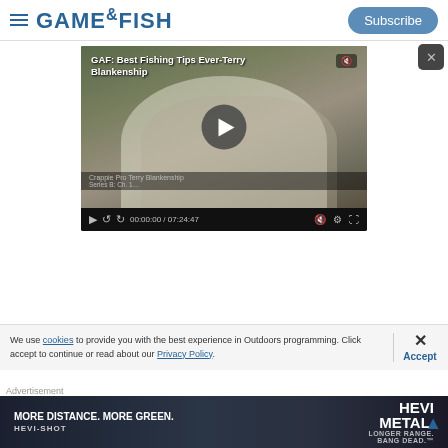GAME&FISH | Subscribe
[Figure (screenshot): Video player showing 'GAF: Best Fishing Tips Ever-Terry Blankenship' with a man wearing a cap and sunglasses, play button overlay, controls bar showing 00:00:00 / 07:24:47]
We use cookies to provide you with the best experience in Outdoors programming. Click accept to continue or read about our Privacy Policy.
[Figure (photo): Advertisement banner: MORE DISTANCE. MORE GREEN. HEVI-SHOT | HEVI METAL LONGER RANGE. BANG DEAD.]